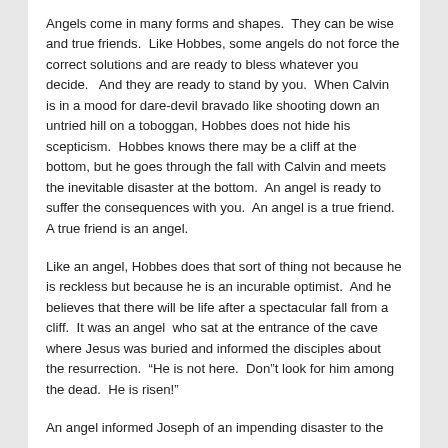Angels come in many forms and shapes.  They can be wise and true friends.  Like Hobbes, some angels do not force the correct solutions and are ready to bless whatever you decide.   And they are ready to stand by you.  When Calvin is in a mood for dare-devil bravado like shooting down an untried hill on a toboggan, Hobbes does not hide his scepticism.  Hobbes knows there may be a cliff at the bottom, but he goes through the fall with Calvin and meets the inevitable disaster at the bottom.  An angel is ready to suffer the consequences with you.  An angel is a true friend.  A true friend is an angel.
Like an angel, Hobbes does that sort of thing not because he is reckless but because he is an incurable optimist.  And he believes that there will be life after a spectacular fall from a cliff.  It was an angel  who sat at the entrance of the cave where Jesus was buried and informed the disciples about the resurrection.  "He is not here.  Don"t look for him among the dead.  He is risen!"
An angel informed Joseph of an impending disaster to the